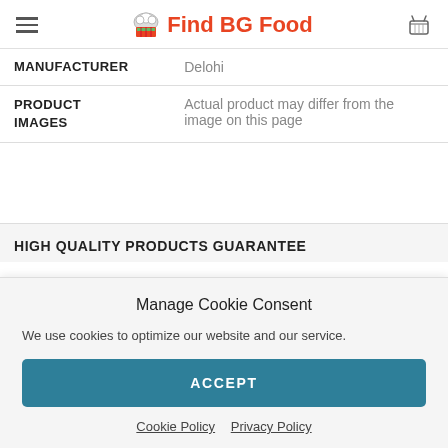Find BG Food
| MANUFACTURER | Delohi |
| PRODUCT IMAGES | Actual product may differ from the image on this page |
HIGH QUALITY PRODUCTS GUARANTEE
Manage Cookie Consent
We use cookies to optimize our website and our service.
ACCEPT
Cookie Policy  Privacy Policy